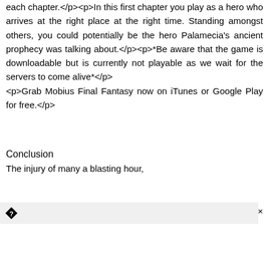each chapter.</p><p>In this first chapter you play as a hero who arrives at the right place at the right time. Standing amongst others, you could potentially be the hero Palamecia's ancient prophecy was talking about.</p><p>*Be aware that the game is downloadable but is currently not playable as we wait for the servers to come alive*</p><p>Grab Mobius Final Fantasy now on iTunes or Google Play for free.</p>
Conclusion
The injury of many a blasting hour,
[Figure (other): A popup notification bar with a diamond-shaped question mark icon on the left and a close (×) button on the right, on a light gray background.]